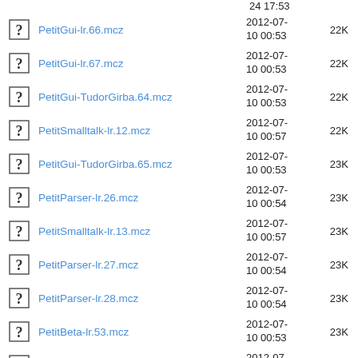PetitGui-lr.66.mcz  2012-07-10 00:53  22K
PetitGui-lr.67.mcz  2012-07-10 00:53  22K
PetitGui-TudorGirba.64.mcz  2012-07-10 00:53  22K
PetitSmalltalk-lr.12.mcz  2012-07-10 00:57  22K
PetitGui-TudorGirba.65.mcz  2012-07-10 00:53  23K
PetitParser-lr.26.mcz  2012-07-10 00:54  23K
PetitSmalltalk-lr.13.mcz  2012-07-10 00:57  23K
PetitParser-lr.27.mcz  2012-07-10 00:54  23K
PetitParser-lr.28.mcz  2012-07-10 00:54  23K
PetitBeta-lr.53.mcz  2012-07-10 00:53  23K
PetitBeta-lr.52.mcz  2012-07-10 00:53  23K
PetitBeta-lr.51.mcz  2012-07-10 00:53  23K